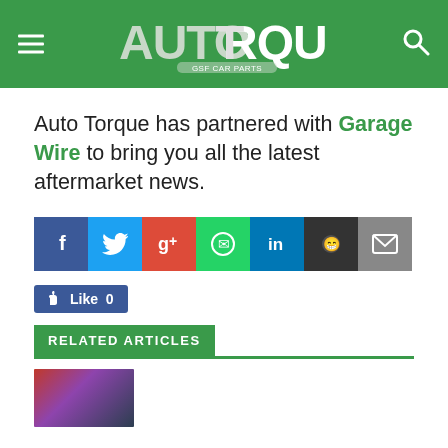AUTO TORQUE (GSF CAR PARTS)
Auto Torque has partnered with Garage Wire to bring you all the latest aftermarket news.
[Figure (infographic): Social share buttons: Facebook, Twitter, Google+, WhatsApp, LinkedIn, Reddit, Email]
[Figure (infographic): Facebook Like button showing 0 likes]
RELATED ARTICLES
[Figure (photo): Thumbnail image for a related article]